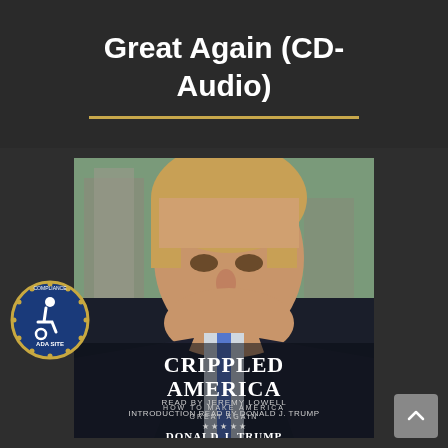Great Again (CD-Audio)
[Figure (photo): Book cover of 'Crippled America: How to Make America Great Again' by Donald J. Trump, CD-Audio edition, read by Jeremy Lowell, introduction read by Donald J. Trump. Shows a serious-looking Donald Trump in a dark suit against a blurred city background.]
[Figure (logo): ADA Site Compliance accessibility badge - circular blue badge with wheelchair symbol and gold star border]
[Figure (other): Scroll-up navigation button, dark grey square with upward chevron arrow]